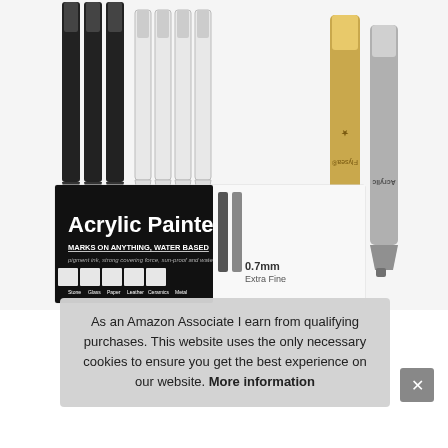[Figure (photo): Product photo of Flysea Acrylic Painter paint markers/pens. Shows multiple black markers on left, white markers in center, and two metallic (gold and silver) markers on right. Packaging box visible showing 'Acrylic Painter – MARKS ON ANYTHING, WATER BASED – 0.7mm Extra Fine'. Icons shown for compatible surfaces: Stone, Glass, Paper, Leather, Ceramics, Metal, Plastic, Glue, Oak, Wood.]
0.7
Ma
As an Amazon Associate I earn from qualifying purchases. This website uses the only necessary cookies to ensure you get the best experience on our website. More information